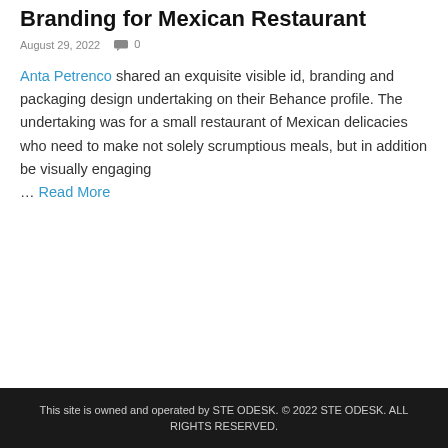Branding for Mexican Restaurant
August 29, 2022   0
Anta Petrenco shared an exquisite visible id, branding and packaging design undertaking on their Behance profile. The undertaking was for a small restaurant of Mexican delicacies who need to make not solely scrumptious meals, but in addition be visually engaging … Read More
This site is owned and operated by STE ODESK. © 2022 STE ODESK. ALL RIGHTS RESERVED.